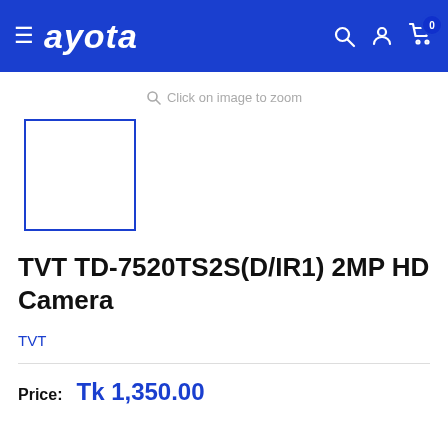ayota — navigation header with hamburger menu, search, account, and cart icons
Click on image to zoom
[Figure (other): Small product image thumbnail placeholder — white square with blue border]
TVT TD-7520TS2S(D/IR1) 2MP HD Camera
TVT
Price: Tk 1,350.00